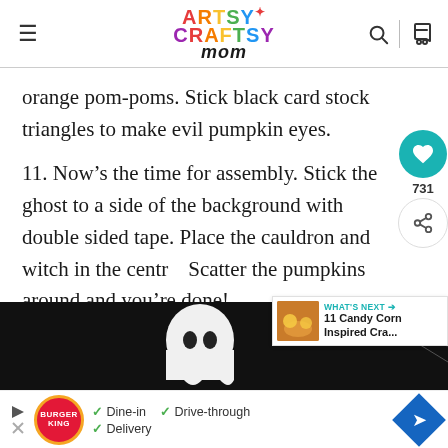Artsy Craftsy Mom — navigation header
orange pom-poms. Stick black card stock triangles to make evil pumpkin eyes.
11. Now's the time for assembly. Stick the ghost to a side of the background with double sided tape. Place the cauldron and witch in the centr… Scatter the pumpkins around and you're done!
[Figure (photo): Bottom strip showing a ghost Halloween craft image against dark background with spider web]
[Figure (other): Burger King advertisement bar at bottom with Dine-in, Drive-through, Delivery options and navigation arrow icon]